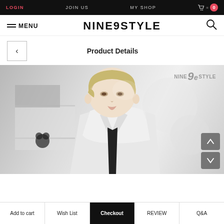LOGIN  JOIN US  MY SHOP  Cart = 0
NINE9STYLE
Product Details
[Figure (photo): Ball-jointed doll with blonde hair wearing a white jacket, photographed in a styled setting. NINE9STYLE brand watermark visible in upper right corner.]
Add to cart  Wish List  Checkout  REVIEW  Q&A